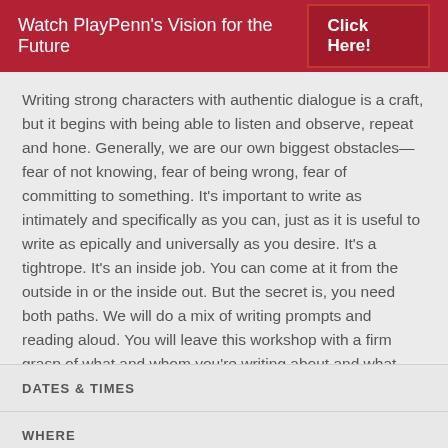Watch PlayPenn's Vision for the Future   Click Here!
Writing strong characters with authentic dialogue is a craft, but it begins with being able to listen and observe, repeat and hone. Generally, we are our own biggest obstacles—fear of not knowing, fear of being wrong, fear of committing to something. It's important to write as intimately and specifically as you can, just as it is useful to write as epically and universally as you desire. It's a tightrope. It's an inside job. You can come at it from the outside in or the inside out. But the secret is, you need both paths. We will do a mix of writing prompts and reading aloud. You will leave this workshop with a firm grasp of what and whom you're writing about and what your next steps are.
DATES & TIMES
WHERE